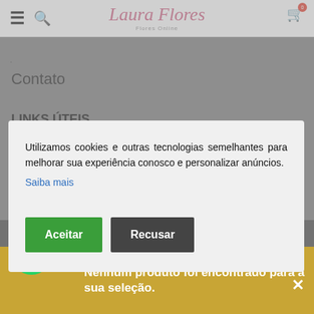Laura Flores – Flores Online
Contato
LINKS ÚTEIS
Política de Privacidade
Trocas e Devoluções
Contato
Utilizamos cookies e outras tecnologias semelhantes para melhorar sua experiência conosco e personalizar anúncios.
Saiba mais
Aceitar
Recusar
LAURA FLORES © 2020 Todos os direitos reservados.
Nenhum produto foi encontrado para a sua seleção.